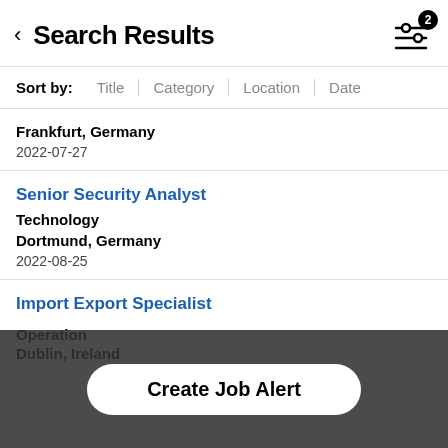Search Results
Sort by: Title | Category | Location | Date
Frankfurt, Germany
2022-07-27
Senior Security Analyst
Technology
Dortmund, Germany
2022-08-25
Import Export Specialist
Operations
Dublin, Ireland
Create Job Alert